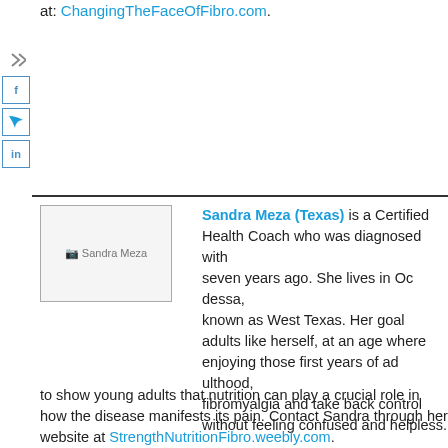at: ChangingTheFaceOfFibro.com.
[Figure (other): Sandra Meza photo placeholder]
Sandra Meza (Texas) is a Certified Health Coach who was diagnosed with fibromyalgia seven years ago. She lives in Odessa, better known as West Texas. Her goal is to help young adults like herself, at an age where they should be enjoying those first years of adulthood, manage fibromyalgia and take back control of their lives without feeling confused and helpless. She wants to show young adults that nutrition can play a crucial role in how the disease manifests its pain. Contact Sandra through her website at StrengthNutritionFibro.weebly.com.